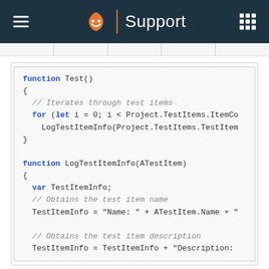Support
[Figure (screenshot): Code snippet showing JavaScript functions: function Test() iterating through test items, and function LogTestItemInfo(ATestItem) obtaining test item name and description.]
Result